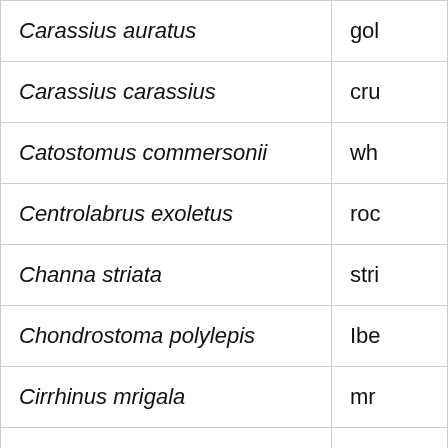| Scientific name | Common name (partial) |
| --- | --- |
| Carassius auratus | gol |
| Carassius carassius | cru |
| Catostomus commersonii | wh |
| Centrolabrus exoletus | roc |
| Channa striata | stri |
| Chondrostoma polylepis | Ibe |
| Cirrhinus mrigala | mr |
| Clarias batrachus | Phi |
| Clarias gariepinus | No |
| Clarias ngamensis | blu |